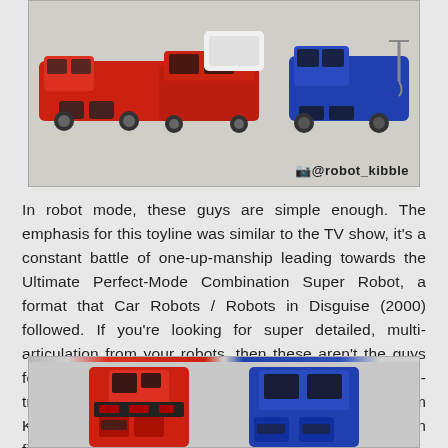[Figure (photo): Photo of red and blue toy robot vehicles (transformers/combiner toys) in vehicle mode, arranged together. Watermark reads '@robot_kibble' with a camera icon.]
In robot mode, these guys are simple enough.  The emphasis for this toyline was similar to the TV show, it's a constant battle of one-up-manship leading towards the Ultimate Perfect-Mode Combination Super Robot, a format that Car Robots / Robots in Disguise (2000) followed.  If you're looking for super detailed, multi-articulation from your robots, then these aren't the guys for you.  However, Bandai have released non-transforming PVC versions of most of the characters from King of Braves, so you might find something more action figurey for you yet!
[Figure (photo): Photo of red and blue toy robot figures in robot mode, shown from the waist up. Red robot on left, blue robot on right.]